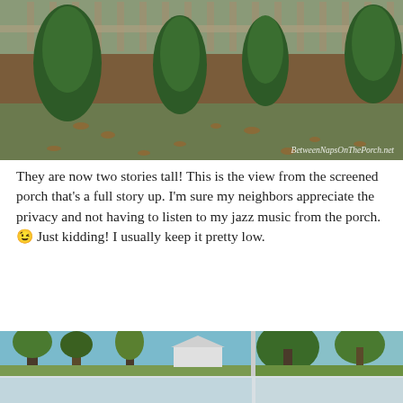[Figure (photo): Outdoor garden scene with evergreen shrubs planted along a wooden picket fence. Ground has grass with fallen brown leaves. Watermark reads 'BetweenNapsOnThePorch.net'.]
They are now two stories tall! This is the view from the screened porch that's a full story up. I'm sure my neighbors appreciate the privacy and not having to listen to my jazz music from the porch. 😉 Just kidding! I usually keep it pretty low.
[Figure (photo): Two side-by-side photos of a yard with large trees, blue sky, and green foliage. The bottom half fades into a lighter reflection.]